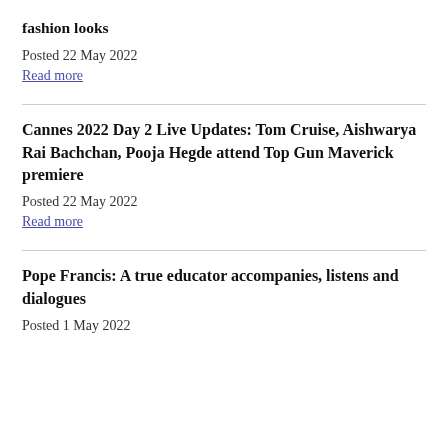fashion looks
Posted 22 May 2022
Read more
Cannes 2022 Day 2 Live Updates: Tom Cruise, Aishwarya Rai Bachchan, Pooja Hegde attend Top Gun Maverick premiere
Posted 22 May 2022
Read more
Pope Francis: A true educator accompanies, listens and dialogues
Posted 1 May 2022